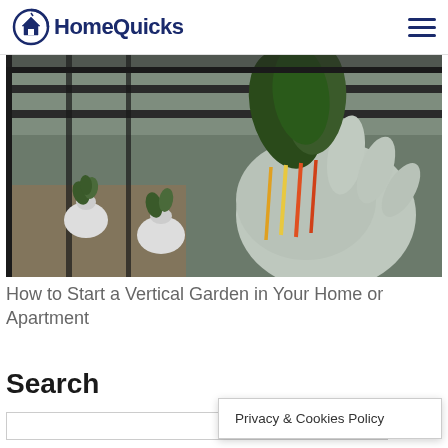HomeQuicks
[Figure (photo): Vertical garden with plants growing in white plastic bottles mounted on a dark fence railing; a gloved hand holds leafy greens (Swiss chard) on the right side; outdoor pathway visible in background.]
How to Start a Vertical Garden in Your Home or Apartment
Search
Privacy & Cookies Policy